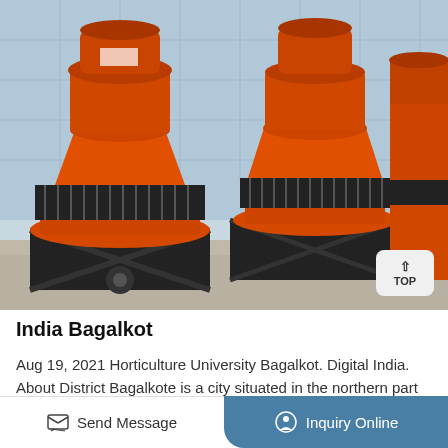[Figure (photo): Multiple orange cone crusher machines with black coil springs mounted on black metal frames, photographed outdoors against a glass building background.]
India Bagalkot
Aug 19, 2021 Horticulture University Bagalkot. Digital India. About District Bagalkote is a city situated in the northern part of the Indian state of
Send Message   Inquiry Online